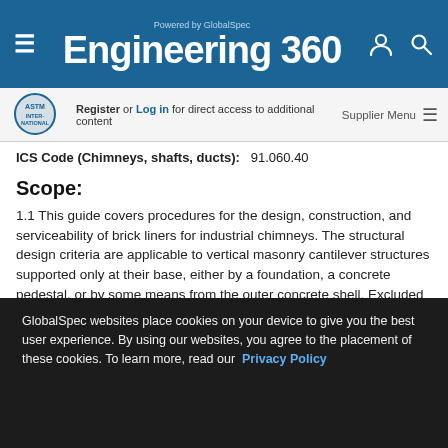Engineering 360 — Powered by GlobalSpec
Register or Log in for direct access to additional content
ICS Code (Chimneys, shafts, ducts): 91.060.40
Scope:
1.1 This guide covers procedures for the design, construction, and serviceability of brick liners for industrial chimneys. The structural design criteria are applicable to vertical masonry cantilever structures supported only at their base, either by a foundation, a concrete pedestal, or by some means from the outer concrete shell. Excluded from direct consideration are single-wythe, sectional brick linings that are supported on a series of corbels cast in the outer chimney shell.
GlobalSpec websites place cookies on your device to give you the best user experience. By using our websites, you agree to the placement of these cookies. To learn more, read our Privacy Policy